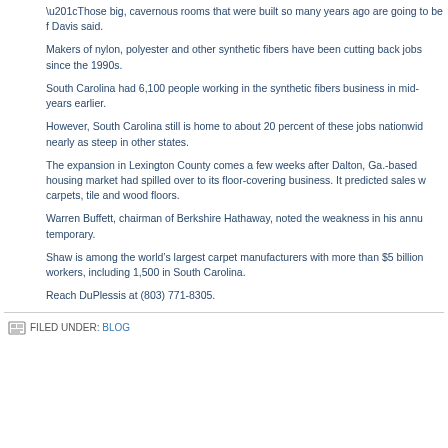“Those big, cavernous rooms that were built so many years ago are going to be f... Davis said.
Makers of nylon, polyester and other synthetic fibers have been cutting back jobs since the 1990s.
South Carolina had 6,100 people working in the synthetic fibers business in mid-... years earlier.
However, South Carolina still is home to about 20 percent of these jobs nationwid... nearly as steep in other states.
The expansion in Lexington County comes a few weeks after Dalton, Ga.-based ... housing market had spilled over to its floor-covering business. It predicted sales w... carpets, tile and wood floors.
Warren Buffett, chairman of Berkshire Hathaway, noted the weakness in his annu... temporary.
Shaw is among the world’s largest carpet manufacturers with more than $5 billion workers, including 1,500 in South Carolina.
Reach DuPlessis at (803) 771-8305.
FILED UNDER: BLOG